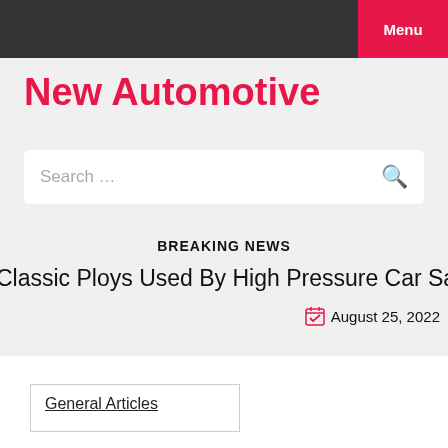Menu
New Automotive
Search …
BREAKING NEWS
Classic Ploys Used By High Pressure Car Salesman  |  Move
August 25, 2022
General Articles